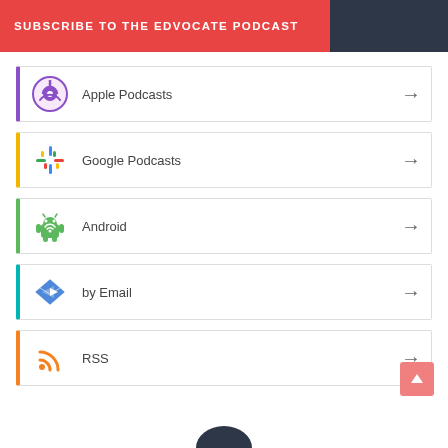SUBSCRIBE TO THE EDVOCATE PODCAST
Apple Podcasts
Google Podcasts
Android
by Email
RSS
[Figure (logo): Back to top button (pink/salmon color) with upward arrow]
[Figure (logo): Partial logo at bottom of page]